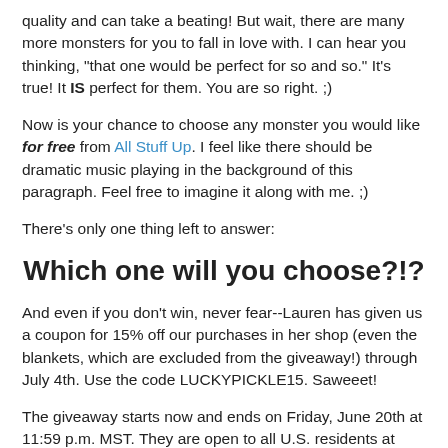quality and can take a beating!  But wait, there are many more monsters for you to fall in love with.  I can hear you thinking, "that one would be perfect for so and so."  It's true!  It IS perfect for them.  You are so right.  ;)
Now is your chance to choose any monster you would like for free from All Stuff Up.  I feel like there should be dramatic music playing in the background of this paragraph.  Feel free to imagine it along with me. ;)
There's only one thing left to answer:
Which one will you choose?!?
And even if you don't win, never fear--Lauren has given us a coupon for 15% off our purchases in her shop (even the blankets, which are excluded from the giveaway!) through July 4th.  Use the code LUCKYPICKLE15.  Saweeet!
The giveaway starts now and ends on Friday, June 20th at 11:59 p.m. MST. They are open to all U.S. residents at least